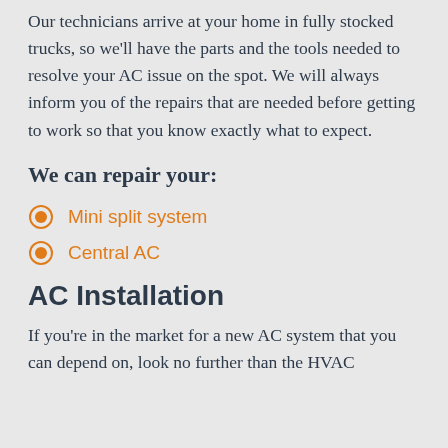Our technicians arrive at your home in fully stocked trucks, so we'll have the parts and the tools needed to resolve your AC issue on the spot. We will always inform you of the repairs that are needed before getting to work so that you know exactly what to expect.
We can repair your:
Mini split system
Central AC
AC Installation
If you're in the market for a new AC system that you can depend on, look no further than the HVAC